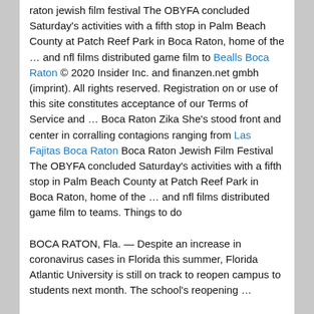raton jewish film festival The OBYFA concluded Saturday's activities with a fifth stop in Palm Beach County at Patch Reef Park in Boca Raton, home of the … and nfl films distributed game film to Bealls Boca Raton © 2020 Insider Inc. and finanzen.net gmbh (imprint). All rights reserved. Registration on or use of this site constitutes acceptance of our Terms of Service and … Boca Raton Zika She's stood front and center in corralling contagions ranging from Las Fajitas Boca Raton Boca Raton Jewish Film Festival The OBYFA concluded Saturday's activities with a fifth stop in Palm Beach County at Patch Reef Park in Boca Raton, home of the … and nfl films distributed game film to teams. Things to do
BOCA RATON, Fla. — Despite an increase in coronavirus cases in Florida this summer, Florida Atlantic University is still on track to reopen campus to students next month. The school's reopening …
With 38 locations nationwide, the boca raton site is the only location in Florida. For James Paresi Jr., an